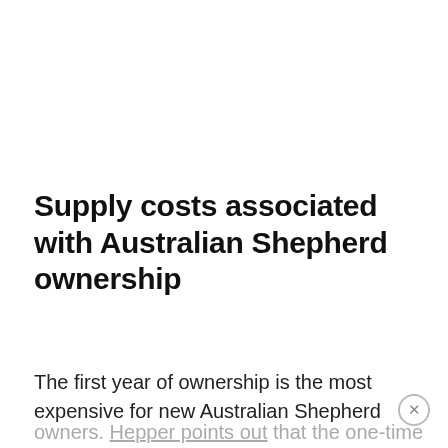Supply costs associated with Australian Shepherd ownership
The first year of ownership is the most expensive for new Australian Shepherd owners. Hepper points out that the one-time setup costs for the first year can be